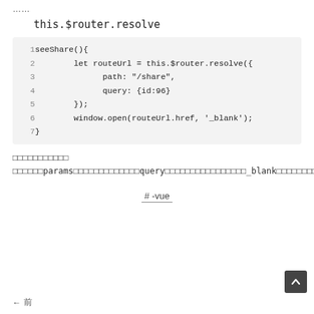……
this.$router.resolve
1  seeShare(){
2        let routeUrl = this.$router.resolve({
3              path: "/share",
4              query: {id:96}
5        });
6        window.open(routeUrl.href, '_blank');
7  }
□□□□□□□□□□□ □□□□□□params□□□□□□□□□□□□□query□□□□□□□□□□□□□□□□_blank□□□□□□□□□□□html□□□□□□□□□□□□□□□url□□□□
# -vue
← 前